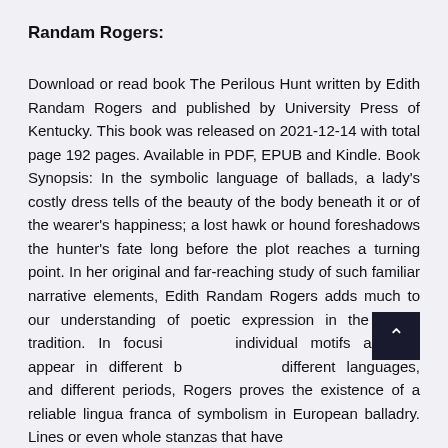Randam Rogers:
Download or read book The Perilous Hunt written by Edith Randam Rogers and published by University Press of Kentucky. This book was released on 2021-12-14 with total page 192 pages. Available in PDF, EPUB and Kindle. Book Synopsis: In the symbolic language of ballads, a lady's costly dress tells of the beauty of the body beneath it or of the wearer's happiness; a lost hawk or hound foreshadows the hunter's fate long before the plot reaches a turning point. In her original and far-reaching study of such familiar narrative elements, Edith Randam Rogers adds much to our understanding of poetic expression in the ballad tradition. In focusing individual motifs as they appear in different ballads, different languages, and different periods, Rogers proves the existence of a reliable lingua franca of symbolism in European balladry. Lines or even whole stanzas that have